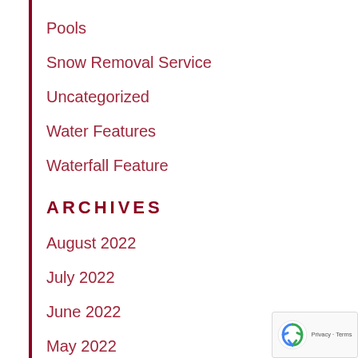Pools
Snow Removal Service
Uncategorized
Water Features
Waterfall Feature
ARCHIVES
August 2022
July 2022
June 2022
May 2022
April 2022